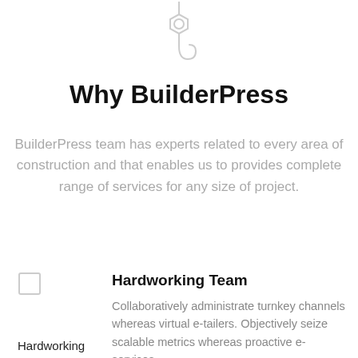[Figure (illustration): A crane hook icon in light gray outline style, centered at the top of the page]
Why BuilderPress
BuilderPress team has experts related to every area of construction and that enables us to provides complete range of services for any size of project.
[Figure (illustration): A small square checkbox icon in light gray outline]
Hardworking Team
Hardworking
Collaboratively administrate turnkey channels whereas virtual e-tailers. Objectively seize scalable metrics whereas proactive e-services.
Team